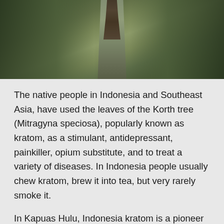[Figure (photo): A person walking barefoot on a narrow path through dense green kratom leaves/foliage, viewed from behind]
The native people in Indonesia and Southeast Asia, have used the leaves of the Korth tree (Mitragyna speciosa), popularly known as kratom, as a stimulant, antidepressant, painkiller, opium substitute, and to treat a variety of diseases. In Indonesia people usually chew kratom, brew it into tea, but very rarely smoke it.
In Kapuas Hulu, Indonesia kratom is a pioneer plant that thrives in flooding areas and along riverbanks. Historically, it grows organically in the deep jungle but the locals frequently disregarded it. They sometimes used the wood to make furniture. Other times, they destroyed it like most